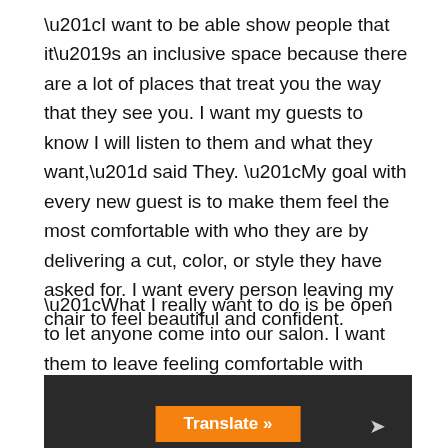“I want to be able show people that it’s an inclusive space because there are a lot of places that treat you the way that they see you. I want my guests to know I will listen to them and what they want,” said They. “My goal with every new guest is to make them feel the most comfortable with who they are by delivering a cut, color, or style they have asked for. I want every person leaving my chair to feel beautiful and confident.
“What I really want to do is be open to let anyone come into our salon. I want them to leave feeling comfortable with themselves, maybe more than they were when they came in.”
[Figure (photo): Dark background photo with an orange Translate button and an arrow icon visible at the bottom]